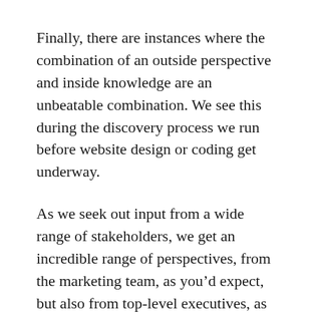Finally, there are instances where the combination of an outside perspective and inside knowledge are an unbeatable combination. We see this during the discovery process we run before website design or coding get underway.
As we seek out input from a wide range of stakeholders, we get an incredible range of perspectives, from the marketing team, as you'd expect, but also from top-level executives, as well as entry-level customer-facing employees.
An outside perspective alone wouldn't provide